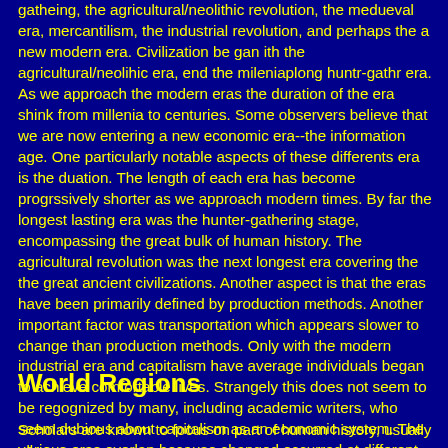gatheing, the agricultural/neolithic revolution, the medueval era, mercantilism, the industrial revolution, and perhaps the a new modern era. Civilization be gan ith the agricultural/neolihic era, end the mileniaplong huntr-gathr era. As we approach the modern eras the duration of the era shink from millenia to centuries. Some observers believe that we are now entering a new economic era--the information age. One particularly notable aspects of these differents era is the duation. The length of each era has become progrssively shorter as we approach modern times. By far the longest lasting era was the hunter-gathering stage, encompassing the great bulk of human history. The agricultural revolution was the next longest era covering the the great ancient civilizations. Another aspect is that the eras have been primarily defined by production methods. Another important factor was transportation which appears slower to change than production methods. Only with the modern industrial era and capitalism have average individuals began to achieve comfortable lives. Strangely this does not seem to be regognized by many, including academic writers, who seem dubious about capitalism as an economic system. The various eras overlap because changed occurred at different times in various areas.
World Regions
Scholars are known to focus on part of human history, usually all